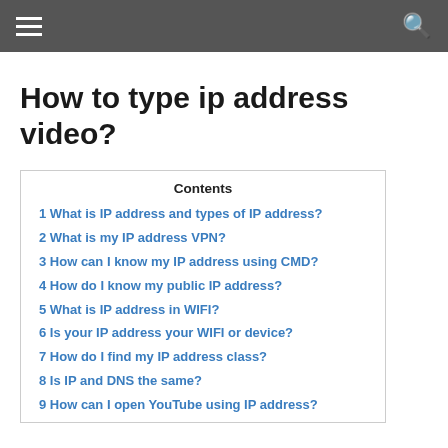navigation bar with hamburger menu and search icon
How to type ip address video?
Contents
1 What is IP address and types of IP address?
2 What is my IP address VPN?
3 How can I know my IP address using CMD?
4 How do I know my public IP address?
5 What is IP address in WIFI?
6 Is your IP address your WIFI or device?
7 How do I find my IP address class?
8 Is IP and DNS the same?
9 How can I open YouTube using IP address?